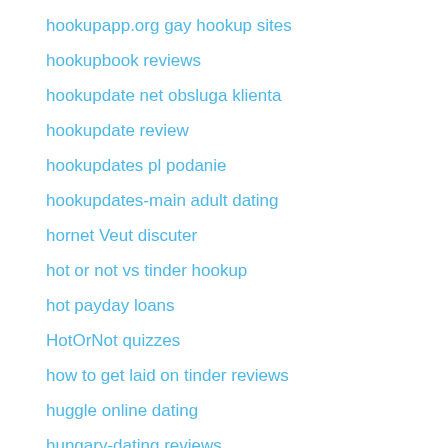hookupapp.org gay hookup sites
hookupbook reviews
hookupdate net obsluga klienta
hookupdate review
hookupdates pl podanie
hookupdates-main adult dating
hornet Veut discuter
hot or not vs tinder hookup
hot payday loans
HotOrNot quizzes
how to get laid on tinder reviews
huggle online dating
hungary-dating reviews
hungary-dating search
i need a payday loan immediately